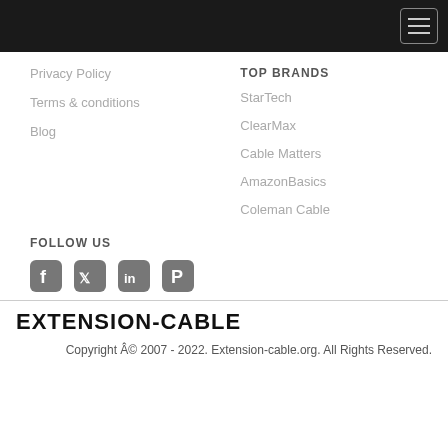Privacy Policy
Terms & conditions
Blog
TOP BRANDS
StarTech
ClearMax
Cable Matters
AmazonBasics
Coleman Cable
FOLLOW US
[Figure (other): Social media icons: Facebook, Twitter, LinkedIn, Pinterest]
EXTENSION-CABLE
Copyright Â© 2007 - 2022. Extension-cable.org. All Rights Reserved.